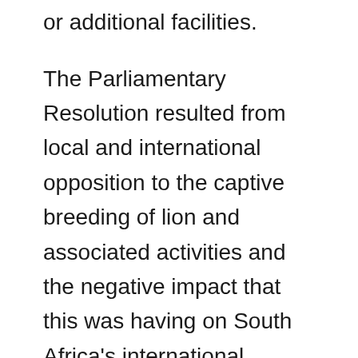or additional facilities.
The Parliamentary Resolution resulted from local and international opposition to the captive breeding of lion and associated activities and the negative impact that this was having on South Africa's international reputation. There has been widescale outcry and